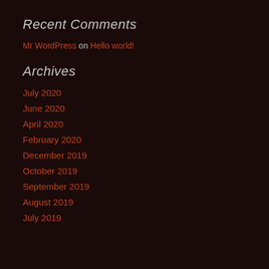Recent Comments
Mr WordPress on Hello world!
Archives
July 2020
June 2020
April 2020
February 2020
December 2019
October 2019
September 2019
August 2019
July 2019